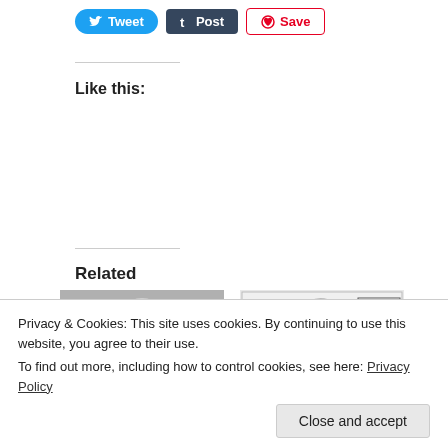[Figure (other): Tweet button (blue rounded), Post button (dark blue), Save button (red outlined) social sharing buttons]
Like this:
Related
[Figure (photo): Black and white photo of a smiling man in a suit]
TCM Preview December
[Figure (photo): Black and white movie poster for Hot Saturday (1932) with decorative art and text 'HOT Saturday with CARY']
Hot Saturday (1932) with
Privacy & Cookies: This site uses cookies. By continuing to use this website, you agree to their use.
To find out more, including how to control cookies, see here: Privacy Policy
Close and accept